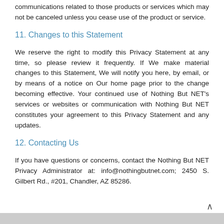communications related to those products or services which may not be canceled unless you cease use of the product or service.
11. Changes to this Statement
We reserve the right to modify this Privacy Statement at any time, so please review it frequently. If We make material changes to this Statement, We will notify you here, by email, or by means of a notice on Our home page prior to the change becoming effective. Your continued use of Nothing But NET's services or websites or communication with Nothing But NET constitutes your agreement to this Privacy Statement and any updates.
12. Contacting Us
If you have questions or concerns, contact the Nothing But NET Privacy Administrator at: info@nothingbutnet.com; 2450 S. Gilbert Rd., #201, Chandler, AZ 85286.